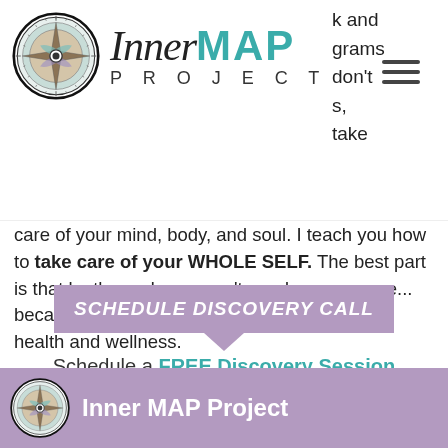[Figure (logo): Inner MAP Project logo with compass rose circle graphic on left, 'Inner' in script font and 'MAP' in teal bold uppercase, 'PROJECT' in spaced capitals below. Hamburger menu icon at right. Partial text visible at top right corner from previous page section.]
care of your mind, body, and soul. I teach you how to take care of your WHOLE SELF. The best part is that by the end, you won't need me anymore... because YOU become the expert in your own health and wellness.
Schedule a FREE Discovery Session with me today! I would love to get to know you and answer your questions.
[Figure (screenshot): Purple button labeled 'SCHEDULE DISCOVERY CALL' in italic white text]
Inner MAP Project